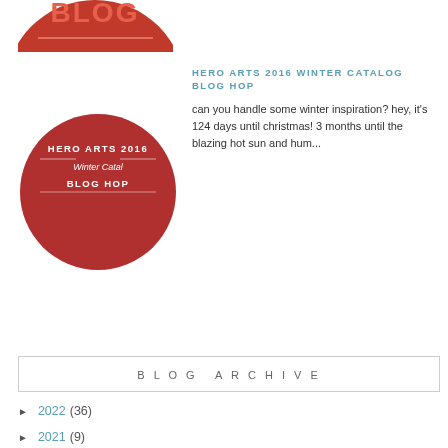[Figure (illustration): Partial red circular logo/badge at top left, partially cropped]
[Figure (illustration): Red circular badge with white text reading HERO ARTS 2016 Winter Catalog BLOG HOP]
HERO ARTS 2016 WINTER CATALOG BLOG HOP
can you handle some winter inspiration? hey, it's 124 days until christmas! 3 months until the blazing hot sun and hum...
BLOG ARCHIVE
► 2022 (36)
► 2021 (9)
► 2020 (72)
► 2019 (69)
► 2018 (62)
► 2017 (127)
► 2016 (114)
▼ 2015 (123)
► December (9)